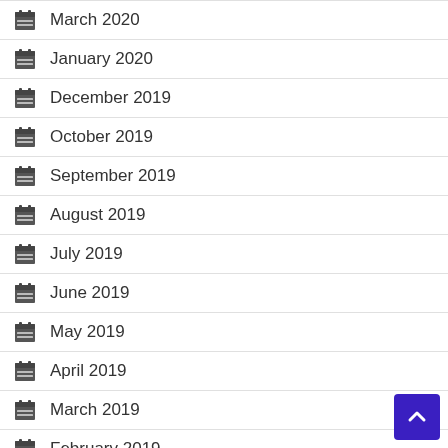March 2020
January 2020
December 2019
October 2019
September 2019
August 2019
July 2019
June 2019
May 2019
April 2019
March 2019
February 2019
January 2019